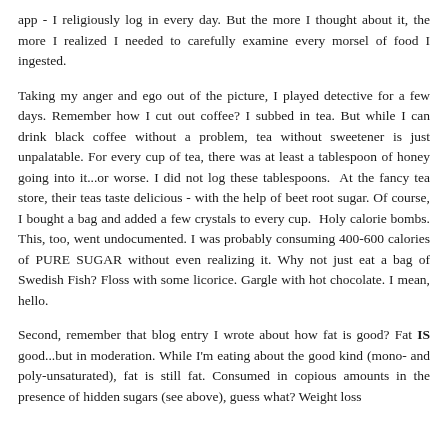app - I religiously log in every day. But the more I thought about it, the more I realized I needed to carefully examine every morsel of food I ingested.
Taking my anger and ego out of the picture, I played detective for a few days. Remember how I cut out coffee? I subbed in tea. But while I can drink black coffee without a problem, tea without sweetener is just unpalatable. For every cup of tea, there was at least a tablespoon of honey going into it...or worse. I did not log these tablespoons.  At the fancy tea store, their teas taste delicious - with the help of beet root sugar. Of course, I bought a bag and added a few crystals to every cup.  Holy calorie bombs. This, too, went undocumented. I was probably consuming 400-600 calories of PURE SUGAR without even realizing it. Why not just eat a bag of Swedish Fish? Floss with some licorice. Gargle with hot chocolate. I mean, hello.
Second, remember that blog entry I wrote about how fat is good? Fat IS good...but in moderation. While I'm eating about the good kind (mono- and poly-unsaturated), fat is still fat. Consumed in copious amounts in the presence of hidden sugars (see above), guess what? Weight loss will tell you, not to let a morsel of food from that mouth, add on...